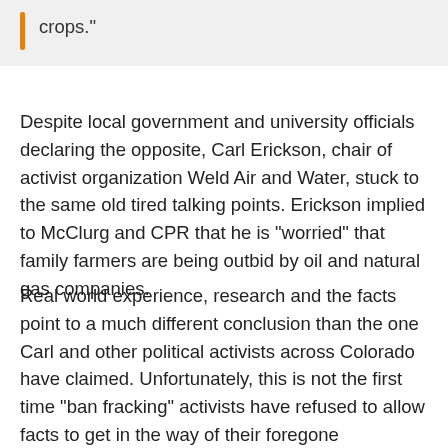crops."
Despite local government and university officials declaring the opposite, Carl Erickson, chair of activist organization Weld Air and Water, stuck to the same old tired talking points. Erickson implied to McClurg and CPR that he is "worried" that family farmers are being outbid by oil and natural gas companies.
Real world experience, research and the facts point to a much different conclusion than the one Carl and other political activists across Colorado have claimed. Unfortunately, this is not the first time "ban fracking" activists have refused to allow facts to get in the way of their foregone conclusions — and it will likely not be the last.